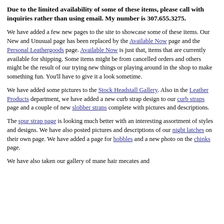Due to the limited availability of some of these items, please call with inquiries rather than using email. My number is 307.655.3275.
We have added a few new pages to the site to showcase some of these items. Our New and Unusual page has been replaced by the Available Now page and the Personal Leathergoods page. Available Now is just that, items that are currently available for shipping. Some items might be from cancelled orders and others might be the result of our trying new things or playing around in the shop to make something fun. You'll have to give it a look sometime.
We have added some pictures to the Stock Headstall Gallery. Also in the Leather Products department, we have added a new curb strap design to our curb straps page and a couple of new slobber straps complete with pictures and descriptions.
The spur strap page is looking much better with an interesting assortment of styles and designs. We have also posted pictures and descriptions of our night latches on their own page. We have added a page for hobbles and a new photo on the chinks page.
We have also taken our gallery of mane hair mecates and